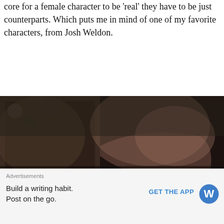core for a female character to be 'real' they have to be just counterparts. Which puts me in mind of one of my favorite characters, from Josh Weldon.
[Figure (photo): Dark background image with a hand partially visible, overlaid with yellow bold text reading: 'Why do you write strong characters?Because you're me that question.']
Advertisements
Build a writing habit. Post on the go.
GET THE APP